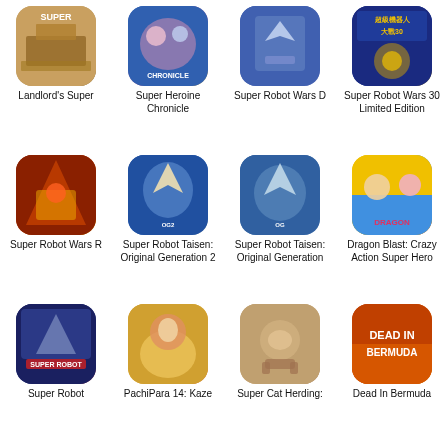[Figure (illustration): Landlord's Super game cover thumbnail]
Landlord's Super
[Figure (illustration): Super Heroine Chronicle game cover thumbnail]
Super Heroine Chronicle
[Figure (illustration): Super Robot Wars D game cover thumbnail]
Super Robot Wars D
[Figure (illustration): Super Robot Wars 30 Limited Edition game cover thumbnail]
Super Robot Wars 30 Limited Edition
[Figure (illustration): Super Robot Wars R game cover thumbnail]
Super Robot Wars R
[Figure (illustration): Super Robot Taisen: Original Generation 2 game cover thumbnail]
Super Robot Taisen: Original Generation 2
[Figure (illustration): Super Robot Taisen: Original Generation game cover thumbnail]
Super Robot Taisen: Original Generation
[Figure (illustration): Dragon Blast: Crazy Action Super Hero game cover thumbnail]
Dragon Blast: Crazy Action Super Hero
[Figure (illustration): Super Robot game cover thumbnail (partial)]
Super Robot
[Figure (illustration): PachiPara 14: Kaze game cover thumbnail (partial)]
PachiPara 14: Kaze
[Figure (illustration): Super Cat Herding game cover thumbnail (partial)]
Super Cat Herding:
[Figure (illustration): Dead In Bermuda game cover thumbnail (partial)]
Dead In Bermuda